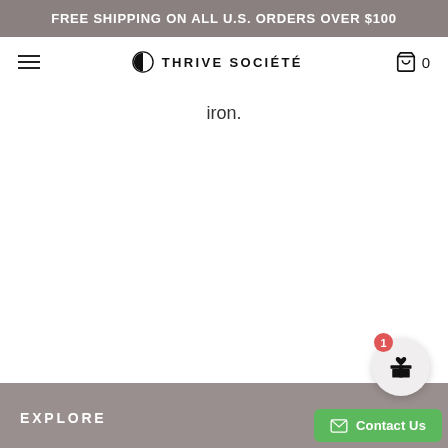FREE SHIPPING ON ALL U.S. ORDERS OVER $100
[Figure (logo): Thrive Société logo with hamburger menu and cart icon showing 0 items]
iron.
EXPLORE
[Figure (other): Gift icon button with red badge showing 1 notification]
[Figure (other): Green Contact Us button with envelope icon]